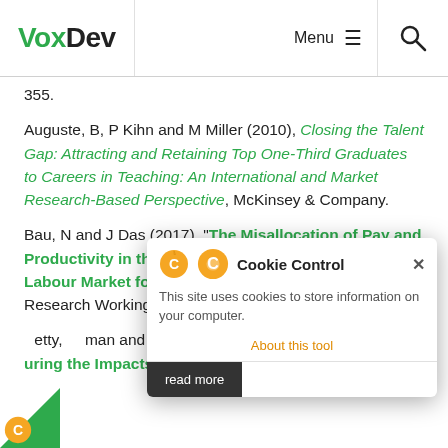VoxDev | Menu | Search
355.
Auguste, B, P Kihn and M Miller (2010), Closing the Talent Gap: Attracting and Retaining Top One-Third Graduates to Careers in Teaching: An International and Market Research-Based Perspective, McKinsey & Company.
Bau, N and J Das (2017), “The Misallocation of Pay and Productivity in the Public Sector: Evidence from the Labour Market for Teachers”, World Bank Policy Research Working Paper, 8050.
...etty, ...man and J Rockoff (2014), ...uring the Impacts of Teachers I: Evaluating...